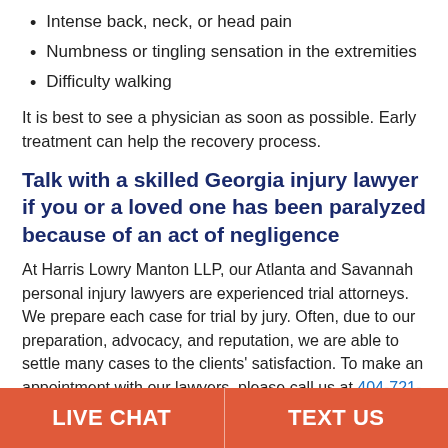Intense back, neck, or head pain
Numbness or tingling sensation in the extremities
Difficulty walking
It is best to see a physician as soon as possible. Early treatment can help the recovery process.
Talk with a skilled Georgia injury lawyer if you or a loved one has been paralyzed because of an act of negligence
At Harris Lowry Manton LLP, our Atlanta and Savannah personal injury lawyers are experienced trial attorneys. We prepare each case for trial by jury. Often, due to our preparation, advocacy, and reputation, we are able to settle many cases to the clients' satisfaction. To make an appointment with our lawyers, please call us at 404-721-0381 in Atlanta or in Savannah at 912-207-7250. You can
LIVE CHAT | TEXT US